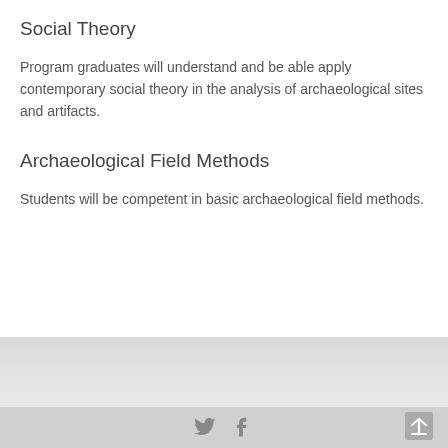Social Theory
Program graduates will understand and be able apply contemporary social theory in the analysis of archaeological sites and artifacts.
Archaeological Field Methods
Students will be competent in basic archaeological field methods.
Twitter and Facebook icons, back-to-top button